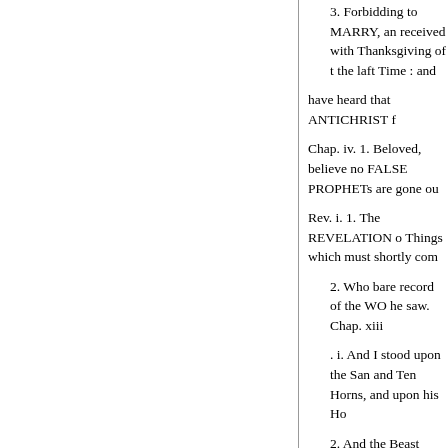3. Forbidding to MARRY, and received with Thanksgiving of the laft Time : and
have heard that ANTICHRIST f
Chap. iv. 1. Beloved, believe no FALSE PROPHETs are gone ou
Rev. i. 1. The REVELATION o Things which must shortly com
2. Who bare record of the WO he saw. Chap. xiii
. i. And I stood upon the San and Ten Horns, and upon his Ho
2. And the Beast which I saw his Mouth as the Mouth of a Li Authority.
3. And I saw one of his Head the WORLD wondred afrer the
4. And they WORSHIPPED t Beast, saying, Who is like unto
5. And there was given unto